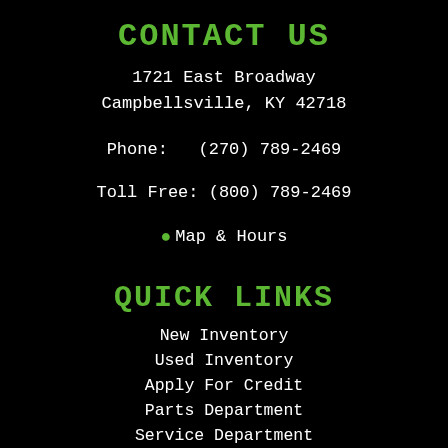CONTACT US
1721 East Broadway
Campbellsville, KY 42718
Phone:   (270) 789-2469
Toll Free:  (800) 789-2469
📍 Map & Hours
QUICK LINKS
New Inventory
Used Inventory
Apply For Credit
Parts Department
Service Department